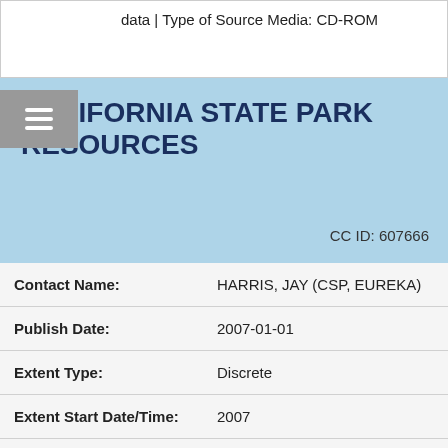data | Type of Source Media: CD-ROM
CALIFORNIA STATE PARK RESOURCES
CC ID: 607666
| Field | Value |
| --- | --- |
| Contact Name: | HARRIS, JAY (CSP, EUREKA) |
| Publish Date: | 2007-01-01 |
| Extent Type: | Discrete |
| Extent Start Date/Time: | 2007 |
| Source Contribution: | INVERT INFORMATION | Source Geospatial Form: EXPERT KNOWLEDGE | Type of Source Media: PERSONAL COMMUNICATION |